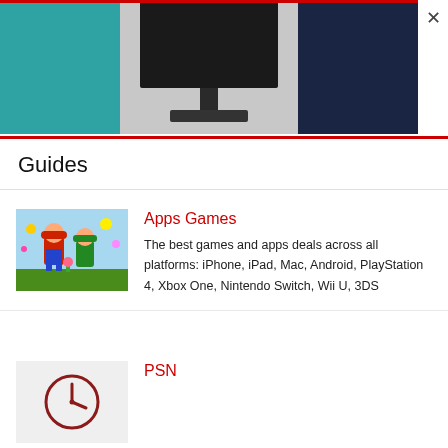[Figure (screenshot): Banner image showing a TV monitor on a stand, with teal/cyan background on the left and dark navy background on the right, with a gray center area showing the TV. An X close button is in the top right.]
Guides
[Figure (photo): Thumbnail of a Mario video game showing Mario and other Nintendo characters in a colorful scene]
Apps Games
The best games and apps deals across all platforms: iPhone, iPad, Mac, Android, PlayStation 4, Xbox One, Nintendo Switch, Wii U, 3DS
[Figure (illustration): Placeholder thumbnail with a clock/time icon on gray background]
PSN